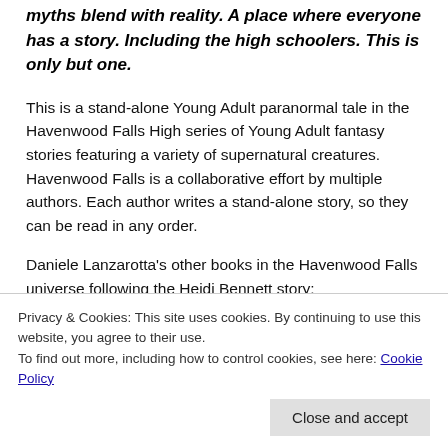myths blend with reality. A place where everyone has a story. Including the high schoolers. This is only but one.
This is a stand-alone Young Adult paranormal tale in the Havenwood Falls High series of Young Adult fantasy stories featuring a variety of supernatural creatures. Havenwood Falls is a collaborative effort by multiple authors. Each author writes a stand-alone story, so they can be read in any order.
Daniele Lanzarotta's other books in the Havenwood Falls universe following the Heidi Bennett story:
Avenoir (Havenwood Falls High)
Privacy & Cookies: This site uses cookies. By continuing to use this website, you agree to their use.
To find out more, including how to control cookies, see here: Cookie Policy
Awaken the Soul by Michele G. Miller